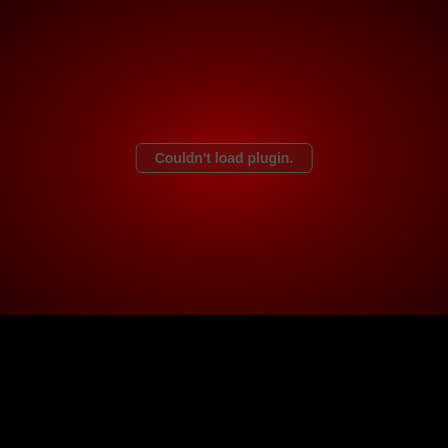[Figure (screenshot): Dark red gradient background with a plugin error message box in the center reading 'Couldn't load plugin.']
Couldn't load plugin.
[Figure (photo): Photo of a person's arm/shoulder being treated with a handheld medical or beauty device. A circular badge in the top-right corner reads 'FREE 120 CREDITS'.]